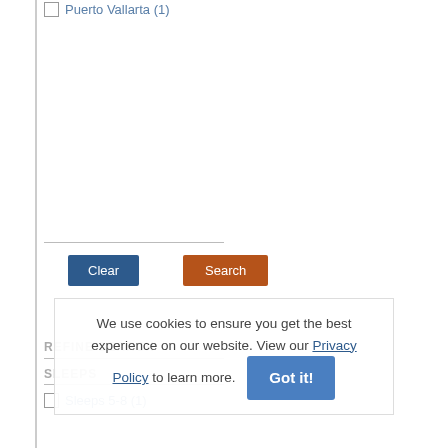Puerto Vallarta (1)
Clear
Search
We use cookies to ensure you get the best experience on our website. View our Privacy Policy to learn more.
Got it!
REFINE SEARCH
SLEEPS
Sleeps 5-8 (1)